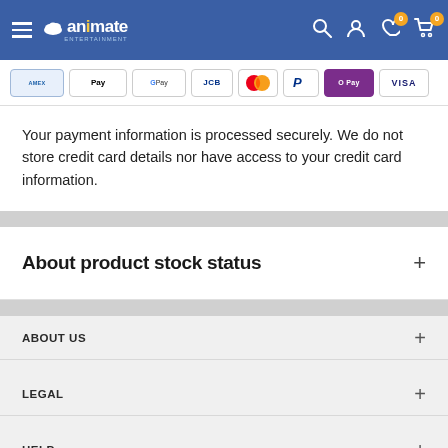[Figure (screenshot): Animate website header with hamburger menu, logo, search, account, wishlist (0), and cart (0) icons on blue background]
[Figure (other): Row of payment method icons: Amex, Apple Pay, Google Pay, JCB, Mastercard, PayPal, OPay, Visa]
Your payment information is processed securely. We do not store credit card details nor have access to your credit card information.
About product stock status
ABOUT US
LEGAL
HELP